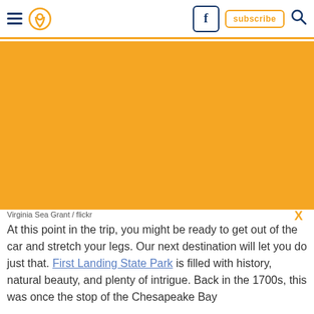Navigation header with hamburger menu, location pin icon, Facebook button, subscribe button, search icon
[Figure (photo): Large hero image placeholder shown as solid orange/amber background representing a travel destination photo]
Virginia Sea Grant / flickr
At this point in the trip, you might be ready to get out of the car and stretch your legs. Our next destination will let you do just that. First Landing State Park is filled with history, natural beauty, and plenty of intrigue. Back in the 1700s, this was once the stop of the Chesapeake Bay...